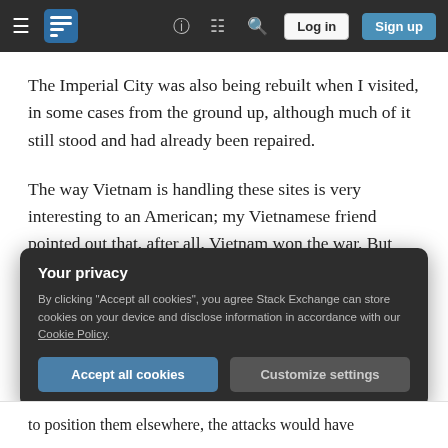Stack Exchange navigation bar with hamburger menu, logo, help, chat, search icons, Log in and Sign up buttons
The Imperial City was also being rebuilt when I visited, in some cases from the ground up, although much of it still stood and had already been repaired.
The way Vietnam is handling these sites is very interesting to an American; my Vietnamese friend pointed out that, after all, Vietnam won the war. But even so, it's strange to compare these sites to our own war heritage sites.
Your privacy
By clicking "Accept all cookies", you agree Stack Exchange can store cookies on your device and disclose information in accordance with our Cookie Policy.
Accept all cookies   Customize settings
to position them elsewhere, the attacks would have